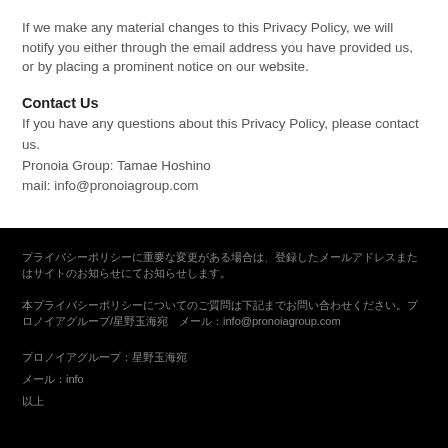If we make any material changes to this Privacy Policy, we will notify you either through the email address you have provided us, or by placing a prominent notice on our website.
Contact Us
If you have any questions about this Privacy Policy, please contact us.
Pronoia Group: Tamae Hoshino
mail: info@pronoiagroup.com
[Japanese text line 1]
[Japanese text line 2 with slash]
[Japanese text short line 1]
[Japanese text short line 2]
[Japanese text short line 3]